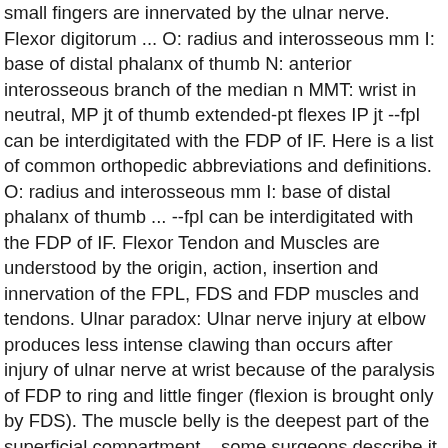small fingers are innervated by the ulnar nerve. Flexor digitorum ... O: radius and interosseous mm I: base of distal phalanx of thumb N: anterior interosseous branch of the median n MMT: wrist in neutral, MP jt of thumb extended-pt flexes IP jt --fpl can be interdigitated with the FDP of IF. Here is a list of common orthopedic abbreviations and definitions. O: radius and interosseous mm I: base of distal phalanx of thumb ... --fpl can be interdigitated with the FDP of IF. Flexor Tendon and Muscles are understood by the origin, action, insertion and innervation of the FPL, FDS and FDP muscles and tendons. Ulnar paradox: Ulnar nerve injury at elbow produces less intense clawing than occurs after injury of ulnar nerve at wrist because of the paralysis of FDP to ring and little finger (flexion is brought only by FDS). The muscle belly is the deepest part of the superficial compartment – some surgeons describe it as an intermediate compartment or start